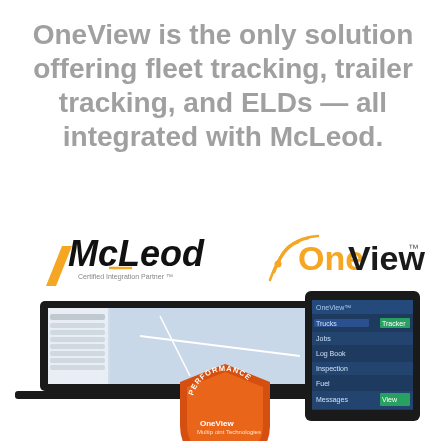OneView is the only solution offering fleet tracking, trailer tracking, and ELDs — all integrated with McLeod.
[Figure (logo): McLeod Certified Integration Partner logo and OneView logo side by side, with laptop and tablet displaying fleet tracking software, and an orange ELD Ready performance badge. A dark scroll-up button is on the right.]